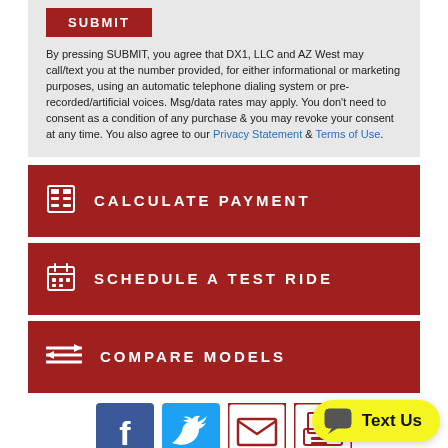SUBMIT
By pressing SUBMIT, you agree that DX1, LLC and AZ West may call/text you at the number provided, for either informational or marketing purposes, using an automatic telephone dialing system or pre-recorded/artificial voices. Msg/data rates may apply. You don't need to consent as a condition of any purchase & you may revoke your consent at any time. You also agree to our Privacy Statement & Terms of Use.
CALCULATE PAYMENT
SCHEDULE A TEST RIDE
COMPARE MODELS
[Figure (infographic): Social media share icons: Facebook (blue), Twitter (light blue), Email (dark red outline), Print (dark red outline)]
2021 ARCTIC CAT ALTER... $3,199